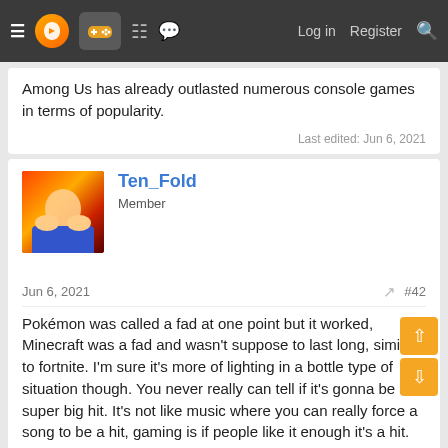Navigation bar with menu, logo, gamepad icon, grid, chat, Log in, Register, Search
Among Us has already outlasted numerous console games in terms of popularity.
Last edited: Jun 6, 2021
Ten_Fold
Member
Jun 6, 2021
#42
Pokémon was called a fad at one point but it worked, Minecraft was a fad and wasn't suppose to last long, similar to fortnite. I'm sure it's more of lighting in a bottle type of situation though. You never really can tell if it's gonna be a super big hit. It's not like music where you can really force a song to be a hit, gaming is if people like it enough it's a hit.
Quasicat